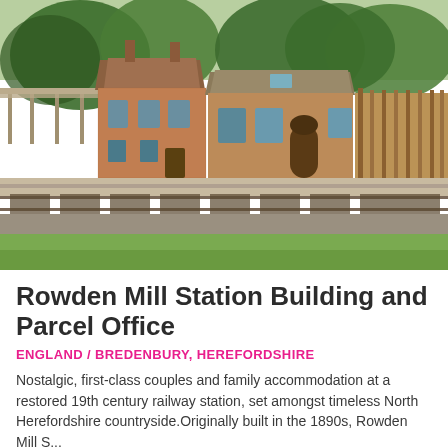[Figure (photo): Exterior photo of Rowden Mill Station Building — a restored Victorian-era red brick railway station with platform canopy on the left, main station building in the centre, and a smaller stone cottage on the right. Old railway tracks run in the foreground with green grass. Trees visible in background.]
Rowden Mill Station Building and Parcel Office
ENGLAND / BREDENBURY, HEREFORDSHIRE
Nostalgic, first-class couples and family accommodation at a restored 19th century railway station, set amongst timeless North Herefordshire countryside.Originally built in the 1890s, Rowden Mill S...
Sleeps: 2 or 4 per property    Bedrooms: 1 or 2 per property